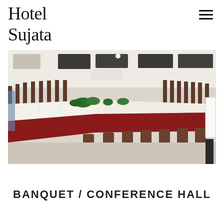Hotel Sujata
[Figure (photo): Interior photo of a conference/banquet hall with a large U-shaped table arrangement covered in white tablecloths with dark red/maroon skirting, brown chairs, plants on the table, air conditioning units and monitors mounted on the ceiling, and light wood flooring.]
BANQUET / CONFERENCE HALL